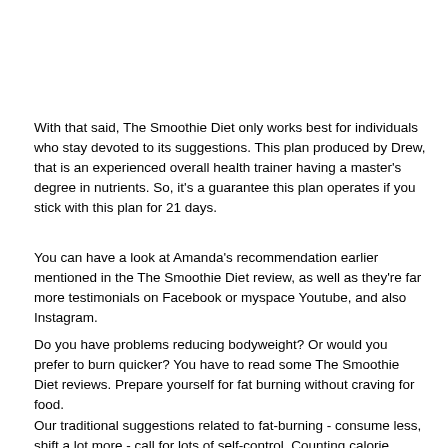With that said, The Smoothie Diet only works best for individuals who stay devoted to its suggestions. This plan produced by Drew, that is an experienced overall health trainer having a master's degree in nutrients. So, it's a guarantee this plan operates if you stick with this plan for 21 days.
You can have a look at Amanda's recommendation earlier mentioned in the The Smoothie Diet review, as well as they're far more testimonials on Facebook or myspace Youtube, and also Instagram.
Do you have problems reducing bodyweight? Or would you prefer to burn quicker? You have to read some The Smoothie Diet reviews. Prepare yourself for fat burning without craving for food.
Our traditional suggestions related to fat-burning - consume less, shift a lot more - call for lots of self-control. Counting calorie intake,